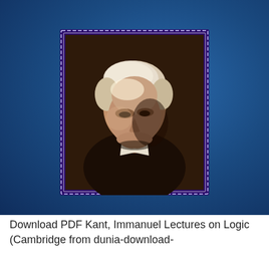[Figure (photo): Portrait painting of Immanuel Kant, showing an elderly man with white hair in profile/three-quarter view, dark background, set within an ornate purple/dark blue decorative border with dash/chain pattern. The portrait is set against a dark blue radial gradient background.]
Download PDF Kant, Immanuel Lectures on Logic (Cambridge from dunia-download-